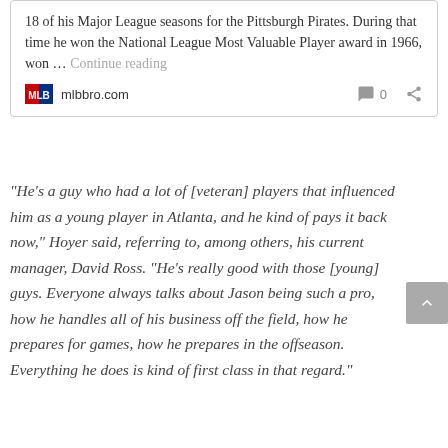18 of his Major League seasons for the Pittsburgh Pirates. During that time he won the National League Most Valuable Player award in 1966, won … Continue reading
mlbbro.com   0
“He’s a guy who had a lot of [veteran] players that influenced him as a young player in Atlanta, and he kind of pays it back now,” Hoyer said, referring to, among others, his current manager, David Ross. “He’s really good with those [young] guys. Everyone always talks about Jason being such a pro, how he handles all of his business off the field, how he prepares for games, how he prepares in the offseason. Everything he does is kind of first class in that regard.”